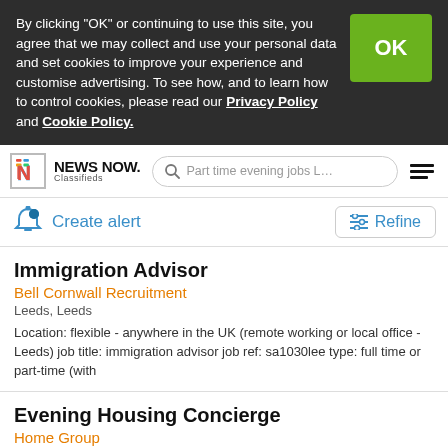By clicking “OK” or continuing to use this site, you agree that we may collect and use your personal data and set cookies to improve your experience and customise advertising. To see how, and to learn how to control cookies, please read our Privacy Policy and Cookie Policy.
[Figure (logo): News Now Classifieds logo with search bar and menu icon]
Create alert
Refine
Immigration Advisor
Bell Cornwall Recruitment
Leeds, Leeds
Location: flexible - anywhere in the UK (remote working or local office - Leeds) job title: immigration advisor job ref: sa1030lee type: full time or part-time (with
Evening Housing Concierge
Home Group
Seacroft, Leeds
Housing concierge - evenings location: Leeds, West Yorkshire permanent, part-time (30 HPW) covering weekday evenings salary £19,360 PA (pro rata), plus